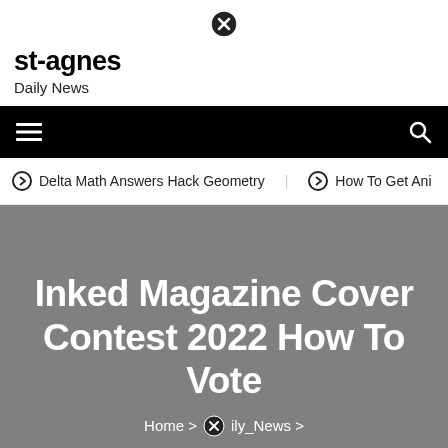[Figure (other): Close/X button icon at top center]
st-agnes
Daily News
[Figure (other): Navigation bar with hamburger menu icon on left and search icon on right, black background]
Delta Math Answers Hack Geometry   How To Get Ani
Inked Magazine Cover Contest 2022 How To Vote
Home > Daily_News >